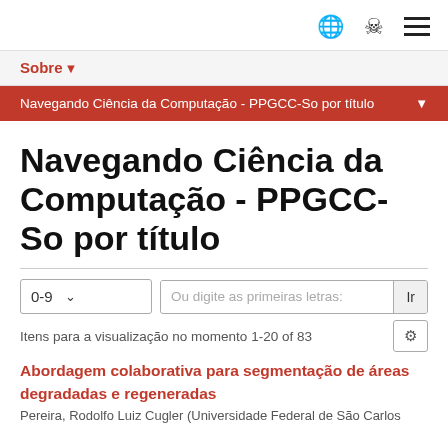🌐 👤 ☰
Sobre ▾
Navegando Ciência da Computação - PPGCC-So por título ▾
Navegando Ciência da Computação - PPGCC-So por título
0-9   Ou digite as primeiras letras:   Ir
Itens para a visualização no momento 1-20 of 83
Abordagem colaborativa para segmentação de áreas degradadas e regeneradas
Pereira, Rodolfo Luiz Cugler (Universidade Federal de São Carlos